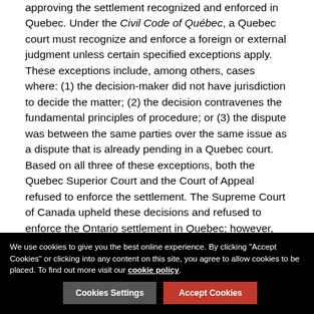approving the settlement recognized and enforced in Quebec. Under the Civil Code of Québec, a Quebec court must recognize and enforce a foreign or external judgment unless certain specified exceptions apply. These exceptions include, among others, cases where: (1) the decision-maker did not have jurisdiction to decide the matter; (2) the decision contravenes the fundamental principles of procedure; or (3) the dispute was between the same parties over the same issue as a dispute that is already pending in a Quebec court. Based on all three of these exceptions, both the Quebec Superior Court and the Court of Appeal refused to enforce the settlement. The Supreme Court of Canada upheld these decisions and refused to enforce the Ontario settlement in Quebec; however, the Supreme Court differed slightly in its reasons.
Jurisdiction of the Ontario Superior Court
We use cookies to give you the best online experience. By clicking "Accept Cookies" or clicking into any content on this site, you agree to allow cookies to be placed. To find out more visit our cookie policy.